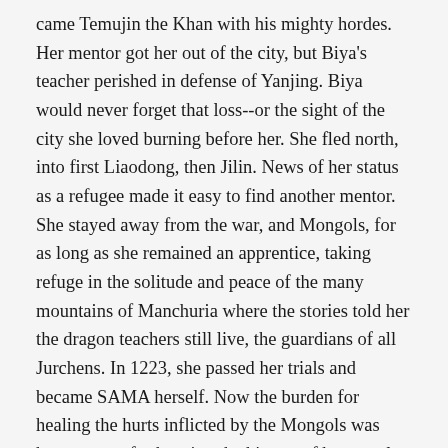came Temujin the Khan with his mighty hordes. Her mentor got her out of the city, but Biya's teacher perished in defense of Yanjing. Biya would never forget that loss--or the sight of the city she loved burning before her. She fled north, into first Liaodong, then Jilin. News of her status as a refugee made it easy to find another mentor. She stayed away from the war, and Mongols, for as long as she remained an apprentice, taking refuge in the solitude and peace of the many mountains of Manchuria where the stories told her the dragon teachers still live, the guardians of all Jurchens. In 1223, she passed her trials and became SAMA herself. Now the burden for healing the hurts inflicted by the Mongols was hers, as was for keeping the history of her people--more and more important as the written records of her people were destroyed by war. And inspiring the resistance also became her responsibility, even though doing so most certainly risked death at Mongol hands. Her people could not forget how much they value freedom, freedom to be their own culture, keep their own goddesses and gods--unhindered by